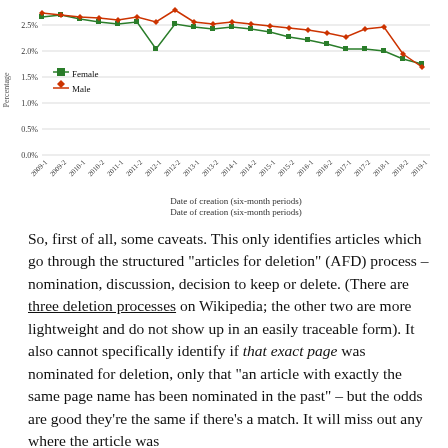[Figure (line-chart): ]
Date of creation (six-month periods)
So, first of all, some caveats. This only identifies articles which go through the structured "articles for deletion" (AFD) process – nomination, discussion, decision to keep or delete. (There are three deletion processes on Wikipedia; the other two are more lightweight and do not show up in an easily traceable form). It also cannot specifically identify if that exact page was nominated for deletion, only that "an article with exactly the same page name has been nominated in the past" – but the odds are good they're the same if there's a match. It will miss out any where the article was